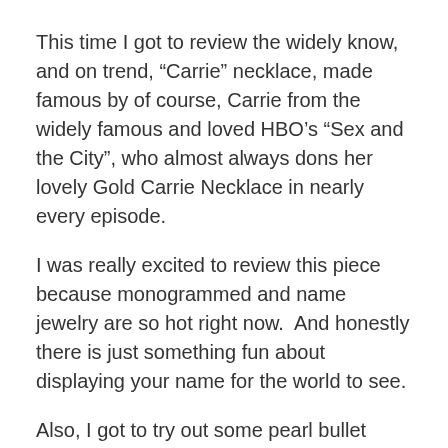This time I got to review the widely know, and on trend, “Carrie” necklace, made famous by of course, Carrie from the widely famous and loved HBO’s “Sex and the City”, who almost always dons her lovely Gold Carrie Necklace in nearly every episode.
I was really excited to review this piece because monogrammed and name jewelry are so hot right now.  And honestly there is just something fun about displaying your name for the world to see.
Also, I got to try out some pearl bullet earrings, which are also super on trend right now, from the up and coming brand, Bullet Jewelry. I normally am not a small, stud earring fan, but I fell in love with these. They are extremely cool, and so fun to wear. I love that they go with absolutely EVERYTHING (as well as